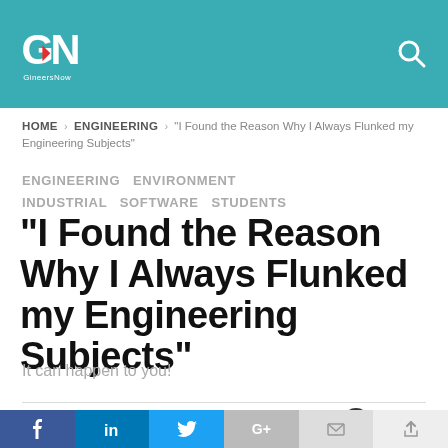[Figure (logo): GineersNow logo white on teal header background with search icon]
HOME > ENGINEERING > "I Found the Reason Why I Always Flunked my Engineering Subjects"
ENGINEERING  ENVIRONMENT  INDUSTRIAL  SOFTWARE  STUDENTS
“I Found the Reason Why I Always Flunked my Engineering Subjects”
It can happen to you!
by GN Feature Story  4 years ago
2k views